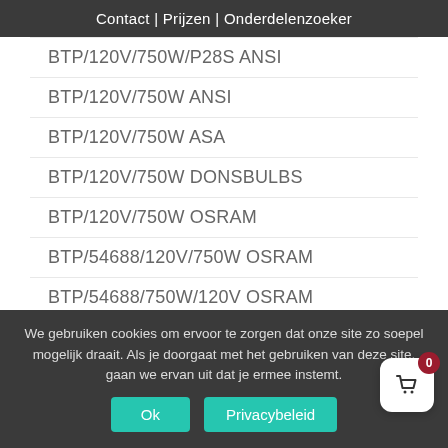Contact | Prijzen | Onderdelenzoeker
BTP/120V/750W/P28S ANSI
BTP/120V/750W ANSI
BTP/120V/750W ASA
BTP/120V/750W DONSBULBS
BTP/120V/750W OSRAM
BTP/54688/120V/750W OSRAM
BTP/54688/750W/120V OSRAM
BTP/T7-120V-750W-MED.-PREF LAMPTECH
BTP ANSI
BTP ASA
BTP ATLAS
We gebruiken cookies om ervoor te zorgen dat onze site zo soepel mogelijk draait. Als je doorgaat met het gebruiken van deze site, gaan we ervan uit dat je ermee instemt.
Ok  Privacybeleid